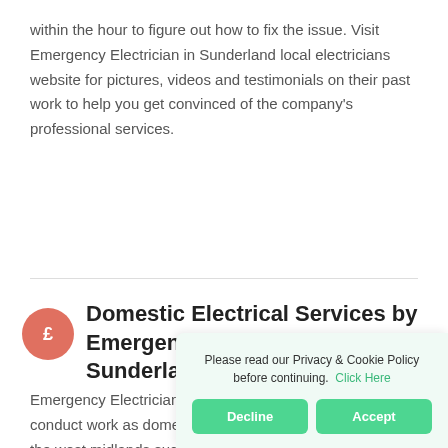within the hour to figure out how to fix the issue. Visit Emergency Electrician in Sunderland local electricians website for pictures, videos and testimonials on their past work to help you get convinced of the company's professional services.
Domestic Electrical Services by Emergency Electrician in Sunderland
Emergency Electrician in Sunderland have the capacity to conduct work as domestic electricians in Sunderland and the west midlands such as Thronhill and Tyne an Sunderland are able t from changing a socke
Please read our Privacy & Cookie Policy before continuing. Click Here